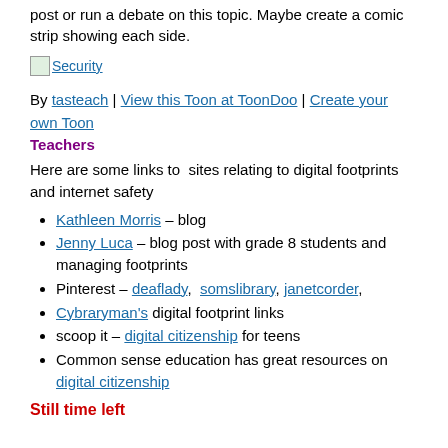post or run a debate on this topic. Maybe create a comic strip showing each side.
[Figure (other): Inline image placeholder with link labeled 'Security']
By tasteach | View this Toon at ToonDoo | Create your own Toon
Teachers
Here are some links to sites relating to digital footprints and internet safety
Kathleen Morris – blog
Jenny Luca – blog post with grade 8 students and managing footprints
Pinterest – deaflady, somslibrary, janetcorder,
Cybraryman's digital footprint links
scoop it – digital citizenship for teens
Common sense education has great resources on digital citizenship
Still time left